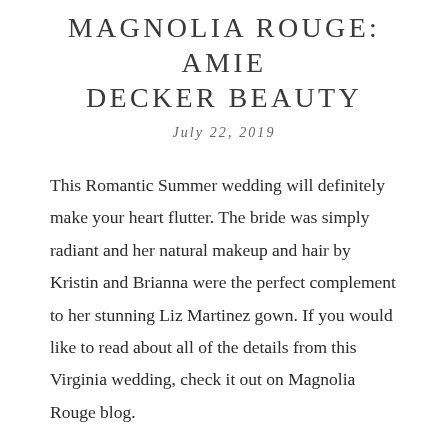MAGNOLIA ROUGE: AMIE DECKER BEAUTY
July 22, 2019
This Romantic Summer wedding will definitely make your heart flutter. The bride was simply radiant and her natural makeup and hair by Kristin and Brianna were the perfect complement to her stunning Liz Martinez gown. If you would like to read about all of the details from this Virginia wedding, check it out on Magnolia Rouge blog.